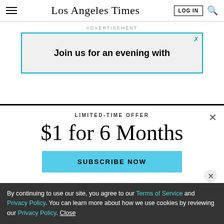Los Angeles Times
ADVERTISEMENT
[Figure (other): Advertisement banner reading 'Join us for an evening with']
LIMITED-TIME OFFER
$1 for 6 Months
SUBSCRIBE NOW
By continuing to use our site, you agree to our Terms of Service and Privacy Policy. You can learn more about how we use cookies by reviewing our Privacy Policy. Close